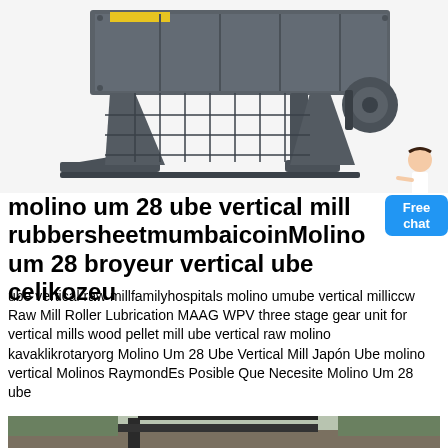[Figure (photo): Industrial vibrating screen / screening machine with grey steel frame, motor, and support legs, photographed on white background]
molino um 28 ube vertical mill rubbersheetmumbaicoinMolino um 28 broyeur vertical ube celikozeu
ube vertical raw millfamilyhospitals molino umube vertical milliccw Raw Mill Roller Lubrication MAAG WPV three stage gear unit for vertical mills wood pellet mill ube vertical raw molino kavaklikrotaryorg Molino Um 28 Ube Vertical Mill Japón Ube molino vertical Molinos RaymondEs Posible Que Necesite Molino Um 28 ube
Aprende más
[Figure (photo): Industrial machinery or conveyor structure photographed outdoors on a hillside with vegetation]